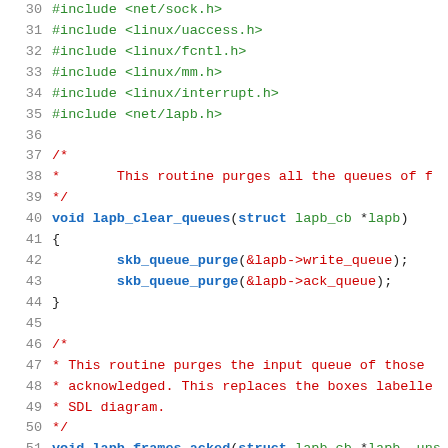Source code listing lines 30-51, C code for lapb network driver
30  #include <net/sock.h>
31  #include <linux/uaccess.h>
32  #include <linux/fcntl.h>
33  #include <linux/mm.h>
34  #include <linux/interrupt.h>
35  #include <net/lapb.h>
36  (blank)
37  /*
38   *       This routine purges all the queues of f
39   */
40  void lapb_clear_queues(struct lapb_cb *lapb)
41  {
42          skb_queue_purge(&lapb->write_queue);
43          skb_queue_purge(&lapb->ack_queue);
44  }
45  (blank)
46  /*
47   * This routine purges the input queue of those
48   * acknowledged. This replaces the boxes labelle
49   * SDL diagram.
50   */
51  void lapb_frames_acked(struct lapb_cb *lapb, uns